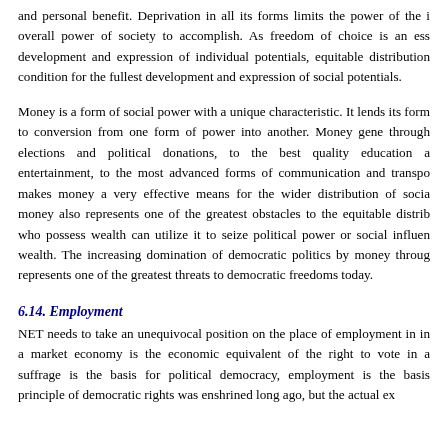and personal benefit. Deprivation in all its forms limits the power of the i overall power of society to accomplish. As freedom of choice is an ess development and expression of individual potentials, equitable distribution condition for the fullest development and expression of social potentials.
Money is a form of social power with a unique characteristic. It lends its form to conversion from one form of power into another. Money gene through elections and political donations, to the best quality education a entertainment, to the most advanced forms of communication and transpo makes money a very effective means for the wider distribution of socia money also represents one of the greatest obstacles to the equitable distrib who possess wealth can utilize it to seize political power or social influen wealth. The increasing domination of democratic politics by money throug represents one of the greatest threats to democratic freedoms today.
6.14. Employment
NET needs to take an unequivocal position on the place of employment in in a market economy is the economic equivalent of the right to vote in a suffrage is the basis for political democracy, employment is the basis principle of democratic rights was enshrined long ago, but the actual ex